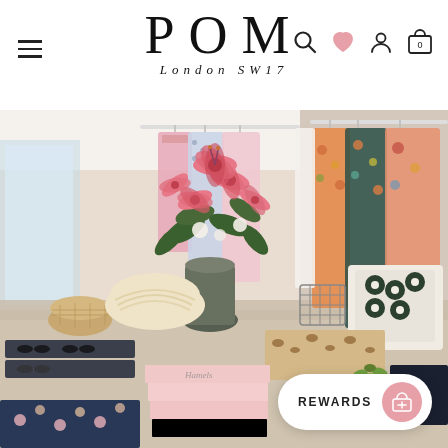POM London SW17 — navigation header with menu, logo, search, wishlist, account, and cart icons
[Figure (photo): Interior of POM London SW17 boutique store showing a display table with a large arrangement of pink stargazer lilies in a dark vase, surrounded by accessories including sunglasses, baskets, straw bags, and folded pink clothing items. In the background, clothing racks display floral dresses and patterned garments in pink, teal, and orange tones.]
REWARDS